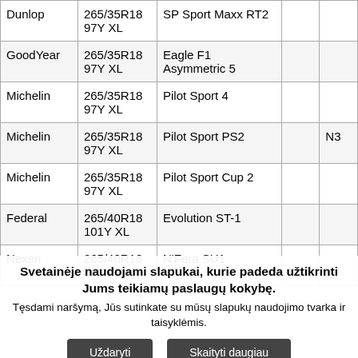|  |  |  |  |  |
| --- | --- | --- | --- | --- |
| Dunlop | 265/35R18
97Y XL | SP Sport Maxx RT2 |  |  |
| GoodYear | 265/35R18
97Y XL | Eagle F1 Asymmetric 5 |  |  |
| Michelin | 265/35R18
97Y XL | Pilot Sport 4 |  |  |
| Michelin | 265/35R18
97Y XL | Pilot Sport PS2 |  | N3 |
| Michelin | 265/35R18
97Y XL | Pilot Sport Cup 2 |  |  |
| Federal | 265/40R18
101Y XL | Evolution ST-1 |  |  |
| Nexen | 265/40R18
101Y XL | N'Fera SU1 |  |  |
Svetainėje naudojami slapukai, kurie padeda užtikrinti Jums teikiamų paslaugų kokybę.
Tęsdami naršymą, Jūs sutinkate su mūsų slapukų naudojimo tvarka ir taisyklėmis.